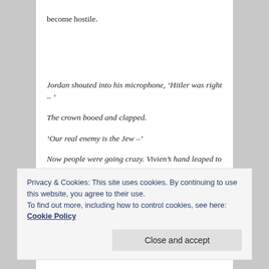become hostile.
Jordan shouted into his microphone, ‘Hitler was right – ’
The crown booed and clapped.
‘Our real enemy is the Jew –’
Now people were going crazy. Vivien’s hand leaped to her mouth. A female protestor holding up a star was being
Privacy & Cookies: This site uses cookies. By continuing to use this website, you agree to their use.
To find out more, including how to control cookies, see here: Cookie Policy
Close and accept
a truck, but things aren’t as she expected.